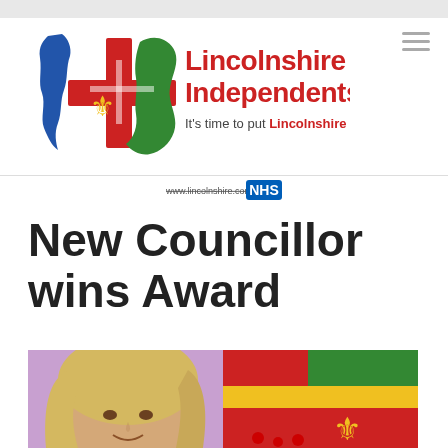[Figure (logo): Lincolnshire Independents logo with Lincolnshire flag map icon, red text 'Lincolnshire Independents', green tagline 'It's time to put Lincolnshire First!']
[Figure (other): Small partially visible NHS and website logos/text watermark]
New Councillor wins Award
[Figure (photo): Photo of a blonde woman smiling on the left against a purple background, and the Lincolnshire flag on the right side]